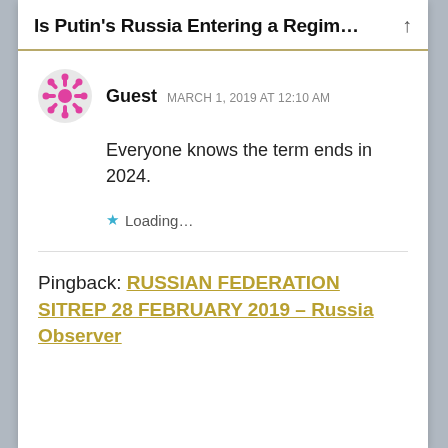Is Putin's Russia Entering a Regim…
Guest   MARCH 1, 2019 AT 12:10 AM
Everyone knows the term ends in 2024.
Loading…
Pingback: RUSSIAN FEDERATION SITREP 28 FEBRUARY 2019 – Russia Observer